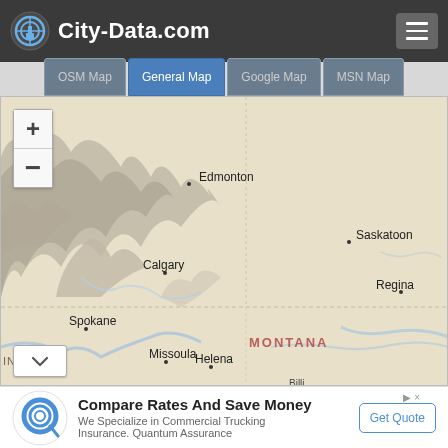City-Data.com
[Figure (map): General map showing western Canada and northwestern United States, with cities labeled: Edmonton, Saskatoon, Calgary, Regina, Spokane, Missoula, Helena, and partial labels for Washington and Montana. Map includes zoom in/out controls and a collapse arrow.]
Compare Rates And Save Money
We Specialize in Commercial Trucking Insurance. Quantum Assurance
Get Quote